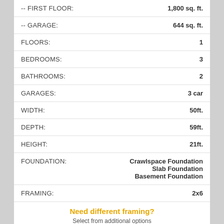| Specification | Value |
| --- | --- |
| -- FIRST FLOOR: | 1,800 sq. ft. |
| -- GARAGE: | 644 sq. ft. |
| FLOORS: | 1 |
| BEDROOMS: | 3 |
| BATHROOMS: | 2 |
| GARAGES: | 3 car |
| WIDTH: | 50ft. |
| DEPTH: | 59ft. |
| HEIGHT: | 21ft. |
| FOUNDATION: | Crawlspace Foundation
Slab Foundation
Basement Foundation |
| FRAMING: | 2x6 |
Need different framing?
Select from additional options